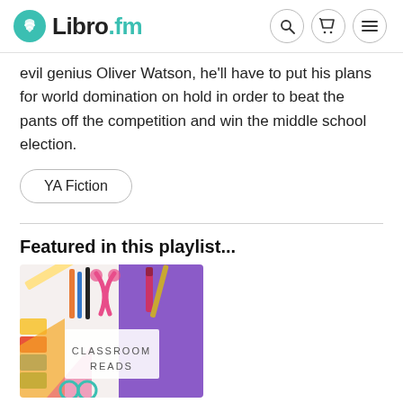Libro.fm
evil genius Oliver Watson, he'll have to put his plans for world domination on hold in order to beat the pants off the competition and win the middle school election.
YA Fiction
Featured in this playlist...
[Figure (photo): Classroom Reads playlist cover image showing school supplies including scissors, pencils, paint swatches, and a purple background with text 'CLASSROOM READS']